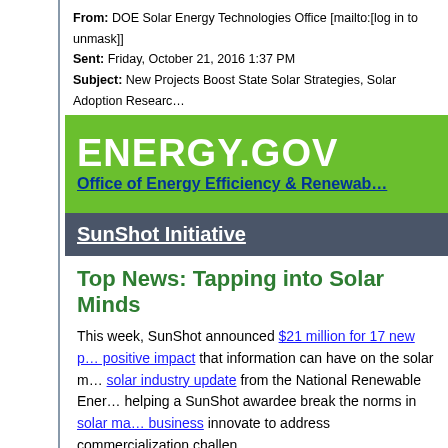From: DOE Solar Energy Technologies Office [mailto:[log in to unmask]]
Sent: Friday, October 21, 2016 1:37 PM
Subject: New Projects Boost State Solar Strategies, Solar Adoption Researc…
[Figure (logo): ENERGY.GOV logo with green background and Office of Energy Efficiency & Renewable Energy subtitle]
SunShot Initiative
Top News: Tapping into Solar Minds
This week, SunShot announced $21 million for 17 new p… positive impact that information can have on the solar m… solar industry update from the National Renewable Ener… helping a SunShot awardee break the norms in solar ma… business innovate to address commercialization challen…
These stories and more in this edition of the SunShot ne…
New SunShot Projects Help States D… Tackle Soft Costs